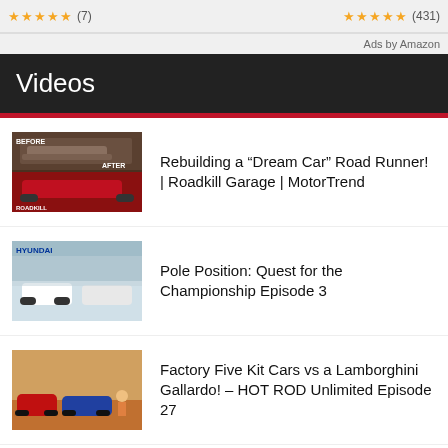Ads by Amazon
Videos
[Figure (photo): Before and after photo of Road Runner car restoration - Roadkill Garage thumbnail]
Rebuilding a “Dream Car” Road Runner! | Roadkill Garage | MotorTrend
[Figure (photo): Pole Position racing cars at track - Hyundai branded event thumbnail]
Pole Position: Quest for the Championship Episode 3
[Figure (photo): Factory Five kit cars and Lamborghini Gallardo on a road]
Factory Five Kit Cars vs a Lamborghini Gallardo! – HOT ROD Unlimited Episode 27
[Figure (photo): Old truck - Junkyard Chevy Bel Air Tri-5 Rescue Roadkill thumbnail]
Junkyard Chevy Bel Air Tri-5 Rescue! | Roadkill | MotorTrend